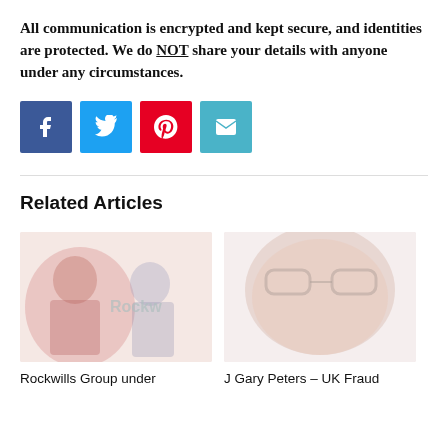All communication is encrypted and kept secure, and identities are protected. We do NOT share your details with anyone under any circumstances.
[Figure (infographic): Row of four social share buttons: Facebook (blue), Twitter (light blue), Pinterest (red), Email (teal)]
Related Articles
[Figure (photo): Faded photograph of people, with watermark text 'Rockw...' visible. Article thumbnail for 'Rockwills Group under...']
[Figure (photo): Faded close-up photograph of a person wearing glasses. Article thumbnail for 'J Gary Peters – UK Fraud']
Rockwills Group under
J Gary Peters – UK Fraud